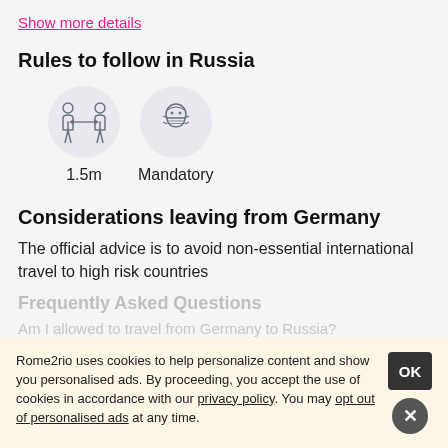Show more details
Rules to follow in Russia
[Figure (infographic): Two icon circles: one showing two people with a distance arrow labeled '1.5m', another showing a person wearing a mask labeled 'Mandatory']
Considerations leaving from Germany
The official advice is to avoid non-essential international travel to high risk countries
Frequently Asked Questions
Am I allowed to travel from Germany to Russia?
Rome2rio uses cookies to help personalize content and show you personalised ads. By proceeding, you accept the use of cookies in accordance with our privacy policy. You may opt out of personalised ads at any time.